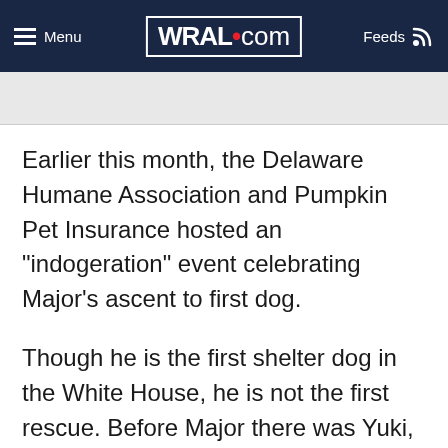Menu | WRAL.com | Feeds
Earlier this month, the Delaware Humane Association and Pumpkin Pet Insurance hosted an "indogeration" event celebrating Major's ascent to first dog.
Though he is the first shelter dog in the White House, he is not the first rescue. Before Major there was Yuki, a mixed-breed pup abandoned by his owner at a gas station in Texas and rescued by President